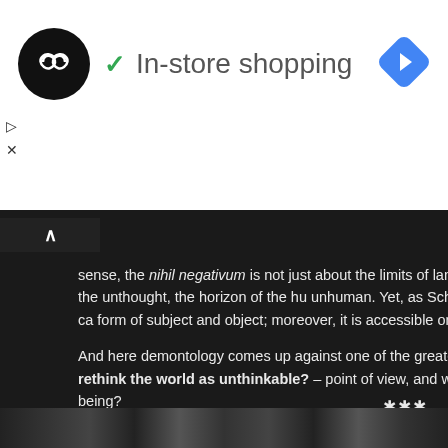[Figure (other): Advertisement banner: circular black logo with infinity-like symbol, green checkmark, text 'In-store shopping', blue navigation diamond icon. Play and close controls below.]
sense, the nihil negativum is not just about the limits of language to the horizon of thought as it confronts the unthought, the horizon of the hu unhuman. Yet, as Schopenhauer notes, "such a state cannot really be ca form of subject and object; moreover, it is accessible only to one's own e communicated."
And here demontology comes up against one of the greatest challenges Nietzschean one – how does one rethink the world as unthinkable? – point of view, and without an over-reliance on the metaphysics of being?
In considering the pedigree of Cosmic Pessimism, should one include cl of “darkness mysticism” or negative theology? And what of the great wor Simone Weil? Schopenhauer and Nietzsche? Bataille? Klossowski? S is if something like a demontology could exist it would not be made any r for nothing is more frowned upon... than nothing.
***
[Figure (photo): Dark strip at bottom showing silhouette figures]